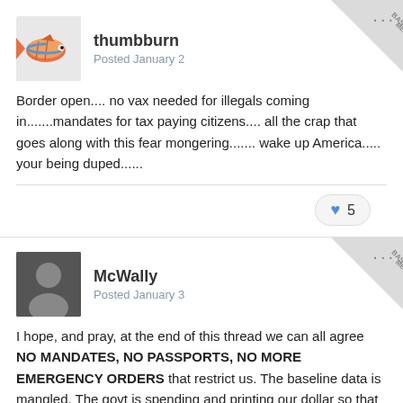thumbburn
Posted January 2
Border open.... no vax needed for illegals coming in.......mandates for tax paying citizens.... all the crap that goes along with this fear mongering....... wake up America..... your being duped......
5
McWally
Posted January 3
I hope, and pray, at the end of this thread we can all agree NO MANDATES, NO PASSPORTS, NO MORE EMERGENCY ORDERS that restrict us. The baseline data is mangled. The govt is spending and printing our dollar so that it is losing value and our tax burden will rise.